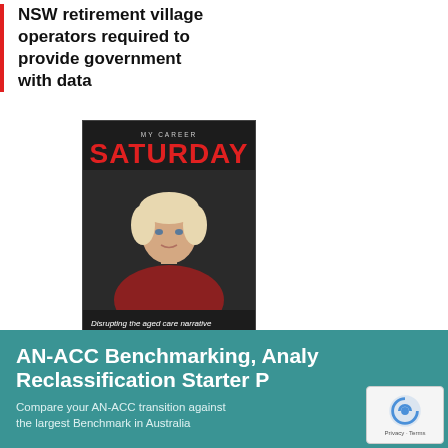NSW retirement village operators required to provide government with data
[Figure (photo): Cover of SATURDAY magazine showing a woman in a red top against a dark background, with tagline 'Disrupting the aged care narrative']
SEPTEMBER 6, 2022
The latest SATURDAY is out now – with a whole new look!
[Figure (infographic): Teal banner advertisement for AN-ACC Benchmarking, Analysis & Reclassification Starter Pack. Text reads: Compare your AN-ACC transition against the largest Benchmark in Australia. Includes reCAPTCHA badge.]